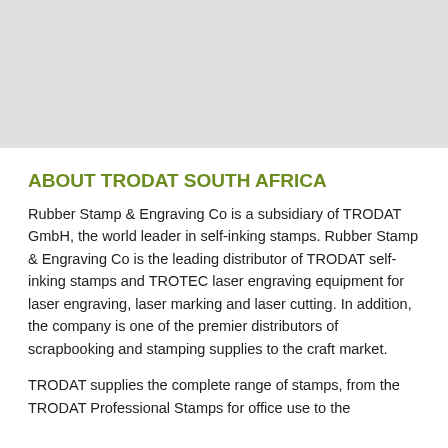ABOUT TRODAT SOUTH AFRICA
Rubber Stamp & Engraving Co is a subsidiary of TRODAT GmbH, the world leader in self-inking stamps. Rubber Stamp & Engraving Co is the leading distributor of TRODAT self-inking stamps and TROTEC laser engraving equipment for laser engraving, laser marking and laser cutting. In addition, the company is one of the premier distributors of scrapbooking and stamping supplies to the craft market.
TRODAT supplies the complete range of stamps, from the TRODAT Professional Stamps for office use to the